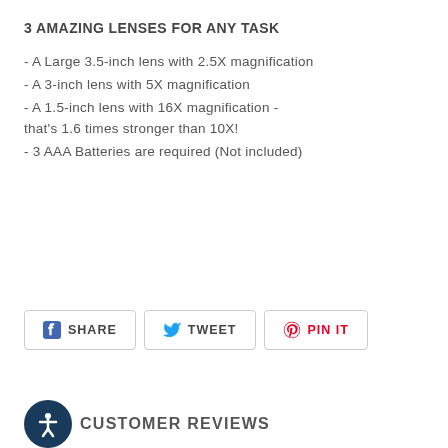3 AMAZING LENSES FOR ANY TASK
- A Large 3.5-inch lens with 2.5X magnification
- A 3-inch lens with 5X magnification
- A 1.5-inch lens with 16X magnification - that's 1.6 times stronger than 10X!
- 3 AAA Batteries are required (Not included)
SHARE  TWEET  PIN IT
CUSTOMER REVIEWS